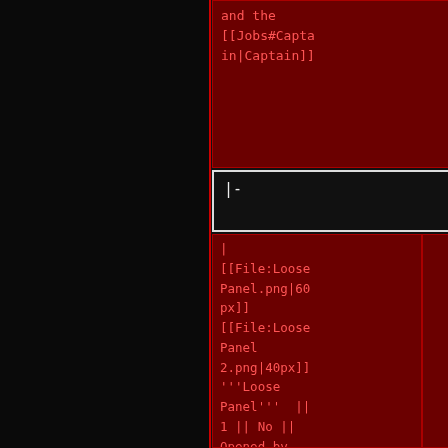and the [[Jobs#Capta in|Captain]]
for the small one.
|-
|-
| [[File:Loose Panel.png|60px]] [[File:Loose Panel 2.png|40px]] '''Loose Panel''' || 1 || No || Opened by standing close and clicking on a small area slightly
| [[File:Vent.png|40px]]'' 'Loose Vent'''||1|| No||Opened by standing close and clicking on a small area slightly left of the center.